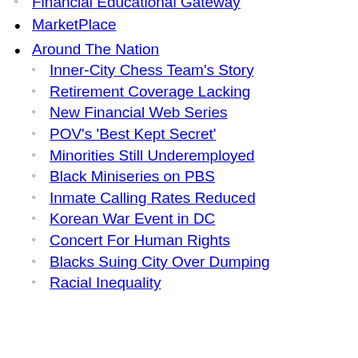Financial Educational Gateway
MarketPlace
Around The Nation
Inner-City Chess Team's Story
Retirement Coverage Lacking
New Financial Web Series
POV's 'Best Kept Secret'
Minorities Still Underemployed
Black Miniseries on PBS
Inmate Calling Rates Reduced
Korean War Event in DC
Concert For Human Rights
Blacks Suing City Over Dumping
Racial Inequality